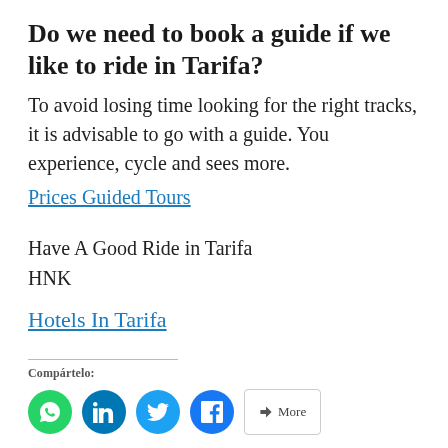Do we need to book a guide if we like to ride in Tarifa?
To avoid losing time looking for the right tracks, it is advisable to go with a guide. You experience, cycle and sees more.
Prices Guided Tours
Have A Good Ride in Tarifa
HNK
Hotels In Tarifa
Compártelo:
[Figure (other): Social sharing buttons: WhatsApp, LinkedIn, Twitter, Facebook, and a More button]